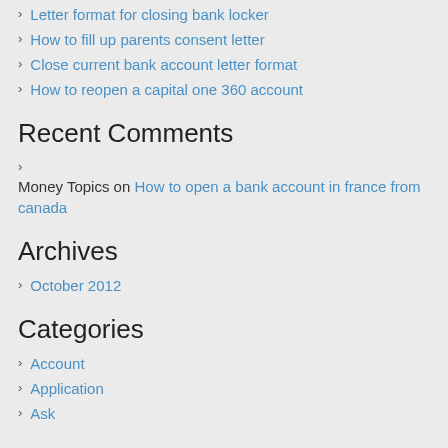Letter format for closing bank locker
How to fill up parents consent letter
Close current bank account letter format
How to reopen a capital one 360 account
Recent Comments
Money Topics on How to open a bank account in france from canada
Archives
October 2012
Categories
Account
Application
Ask